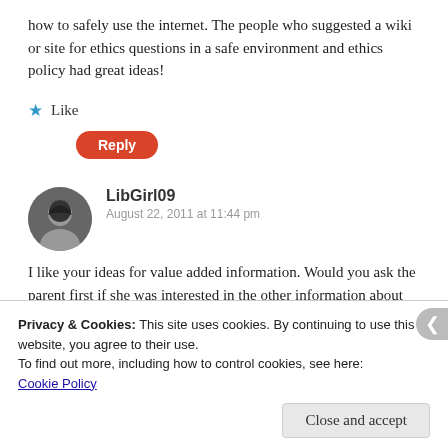how to safely use the internet. The people who suggested a wiki or site for ethics questions in a safe environment and ethics policy had great ideas!
★ Like
Reply
LibGirl09
August 22, 2011 at 11:44 pm
I like your ideas for value added information. Would you ask the parent first if she was interested in the other information about communicating with teens, or just go ahead and present
Privacy & Cookies: This site uses cookies. By continuing to use this website, you agree to their use.
To find out more, including how to control cookies, see here:
Cookie Policy
Close and accept